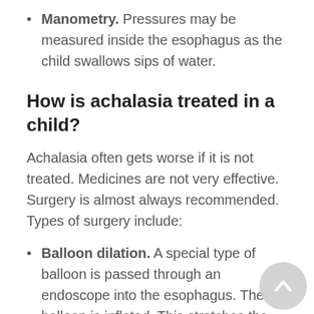Manometry. Pressures may be measured inside the esophagus as the child swallows sips of water.
How is achalasia treated in a child?
Achalasia often gets worse if it is not treated. Medicines are not very effective. Surgery is almost always recommended. Types of surgery include:
Balloon dilation. A special type of balloon is passed through an endoscope into the esophagus. The balloon is inflated. This stretches the tight LES muscles where the esophagus narrows as it meets the stomach. This surgery does not work as well in children as it does in adults. It often does not give long-term relief.